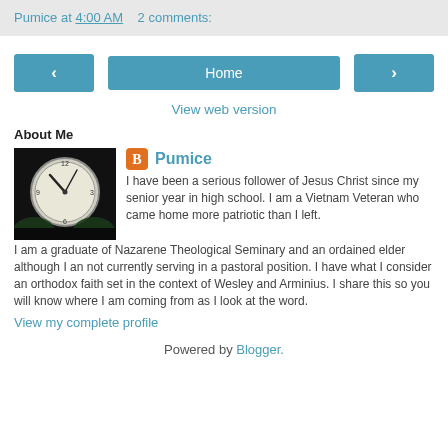Pumice at 4:00 AM   2 comments:
[Figure (illustration): Navigation buttons: left arrow, Home button, right arrow]
View web version
About Me
[Figure (photo): Profile photo: clock face with dark background]
Pumice
I have been a serious follower of Jesus Christ since my senior year in high school. I am a Vietnam Veteran who came home more patriotic than I left. I am a graduate of Nazarene Theological Seminary and an ordained elder although I an not currently serving in a pastoral position. I have what I consider an orthodox faith set in the context of Wesley and Arminius. I share this so you will know where I am coming from as I look at the word.
View my complete profile
Powered by Blogger.